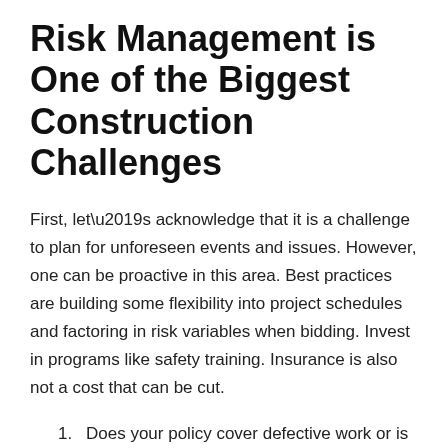Risk Management is One of the Biggest Construction Challenges
First, let’s acknowledge that it is a challenge to plan for unforeseen events and issues. However, one can be proactive in this area. Best practices are building some flexibility into project schedules and factoring in risk variables when bidding. Invest in programs like safety training. Insurance is also not a cost that can be cut.
Does your policy cover defective work or is it an exclusion?
The presence of EIFS could preclude insurance coverage.
Employer’s liability exclusion means you can be sued